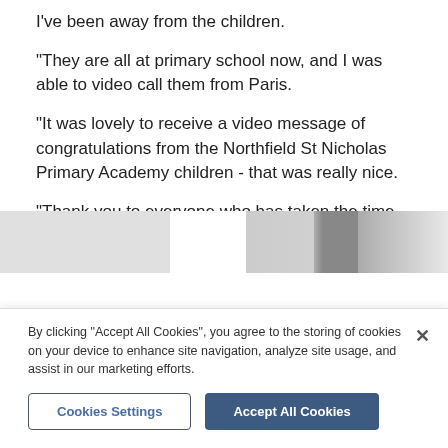I've been away from the children.
"They are all at primary school now, and I was able to video call them from Paris.
"It was lovely to receive a video message of congratulations from the Northfield St Nicholas Primary Academy children - that was really nice.
"Thank you to everyone who has taken the time to send so many messages on social media, or pass on well wishes.
[Figure (photo): Partial photo strip visible at bottom of article content]
By clicking "Accept All Cookies", you agree to the storing of cookies on your device to enhance site navigation, analyze site usage, and assist in our marketing efforts.